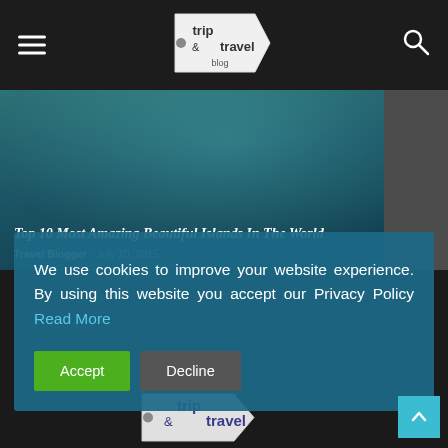Trip & Travel Blog — navigation header with hamburger menu and search icon
[Figure (screenshot): Hero image of Top 10 Most Amazing Beautiful Islands In The World blog post with dark teal background]
Top 10 Most Amazing Beautiful Islands In The World
Travel Blogger - July 10, 2015
We use cookies to improve your website experience. By using this website you accept our Privacy Policy Read More
Accept
Decline
[Figure (logo): Trip & Travel Blog logo at bottom of page]